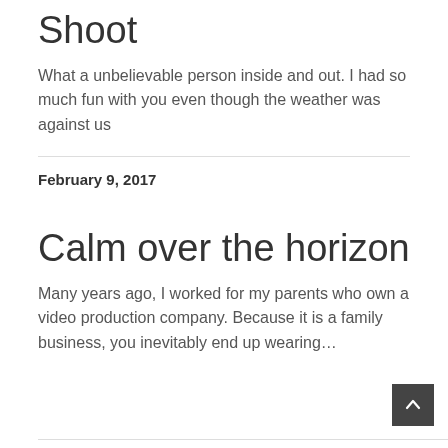Shoot
What a unbelievable person inside and out. I had so much fun with you even though the weather was against us
February 9, 2017
Calm over the horizon
Many years ago, I worked for my parents who own a video production company. Because it is a family business, you inevitably end up wearing…